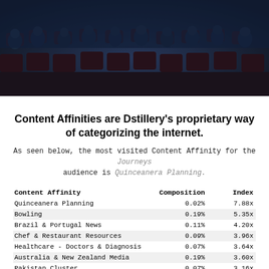[Figure (photo): Audience seated in a dark cinema or theater with red seats, lit by blue-toned light from the screen]
Content Affinities are Dstillery's proprietary way of categorizing the internet.
As seen below, the most visited Content Affinity for the Journeys audience is Quinceanera Planning.
| Content Affinity | Composition | Index |
| --- | --- | --- |
| Quinceanera Planning | 0.02% | 7.88x |
| Bowling | 0.19% | 5.35x |
| Brazil & Portugal News | 0.11% | 4.20x |
| Chef & Restaurant Resources | 0.09% | 3.96x |
| Healthcare - Doctors & Diagnosis | 0.07% | 3.64x |
| Australia & New Zealand Media | 0.19% | 3.60x |
| Pakistan Cluster | 0.07% | 3.16x |
| Teen Hair | 0.11% | 3.11x |